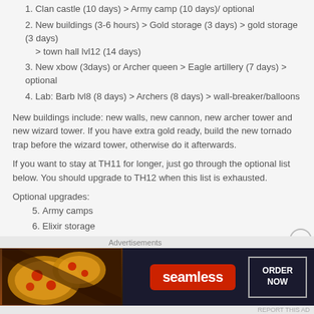3. Clan castle (10 days) > Army camp (10 days)/ optional
4. New buildings (3-6 hours) > Gold storage (3 days) > gold storage (3 days) > town hall lvl12 (14 days)
5. New xbow (3days) or Archer queen > Eagle artillery (7 days) > optional
6. Lab: Barb lvl8 (8 days) > Archers (8 days) > wall-breaker/balloons
New buildings include: new walls, new cannon, new archer tower and new wizard tower. If you have extra gold ready, build the new tornado trap before the wizard tower, otherwise do it afterwards.
If you want to stay at TH11 for longer, just go through the optional list below. You should upgrade to TH12 when this list is exhausted.
Optional upgrades:
1. Army camps
2. Elixir storage
3. Gold storage
4. DE drills
[Figure (infographic): Seamless food delivery advertisement banner with pizza image on the left, Seamless logo in the center, and ORDER NOW button on the right]